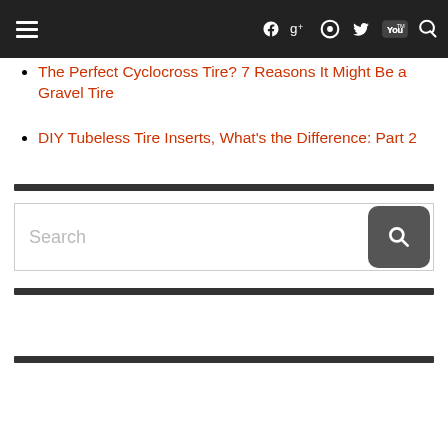Navigation bar with hamburger menu and social icons (Facebook, Google+, Instagram, Twitter, YouTube, Search)
The Perfect Cyclocross Tire? 7 Reasons It Might Be a Gravel Tire
DIY Tubeless Tire Inserts, What’s the Difference: Part 2
[Figure (other): Search input field with magnifying glass button]